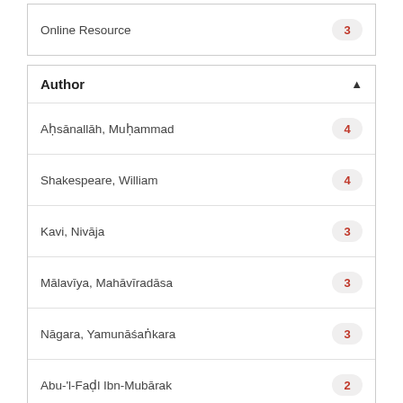Online Resource 3
Author
Aḥsānallāh, Muḥammad 4
Shakespeare, William 4
Kavi, Nivāja 3
Mālavīya, Mahāvīradāsa 3
Nāgara, Yamunāśaṅkara 3
Abu-'l-Faḍl Ibn-Mubārak 2
more ...
Language
Urdu 9
Hindi 7